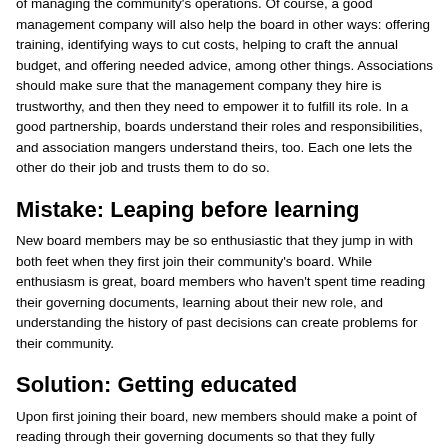of managing the community's operations. Of course, a good management company will also help the board in other ways: offering training, identifying ways to cut costs, helping to craft the annual budget, and offering needed advice, among other things. Associations should make sure that the management company they hire is trustworthy, and then they need to empower it to fulfill its role. In a good partnership, boards understand their roles and responsibilities, and association mangers understand theirs, too. Each one lets the other do their job and trusts them to do so.
Mistake: Leaping before learning
New board members may be so enthusiastic that they jump in with both feet when they first join their community's board. While enthusiasm is great, board members who haven't spent time reading their governing documents, learning about their new role, and understanding the history of past decisions can create problems for their community.
Solution: Getting educated
Upon first joining their board, new members should make a point of reading through their governing documents so that they fully understand the community association's current policies and their function as a board